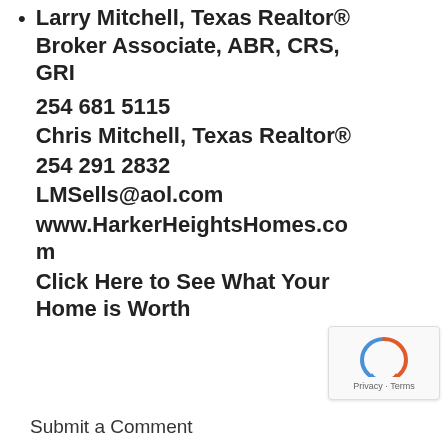Larry Mitchell, Texas Realtor® Broker Associate, ABR, CRS, GRI
254 681 5115
Chris Mitchell, Texas Realtor®
254 291 2832
LMSells@aol.com
www.HarkerHeightsHomes.com
Click Here to See What Your Home is Worth
Submit a Comment